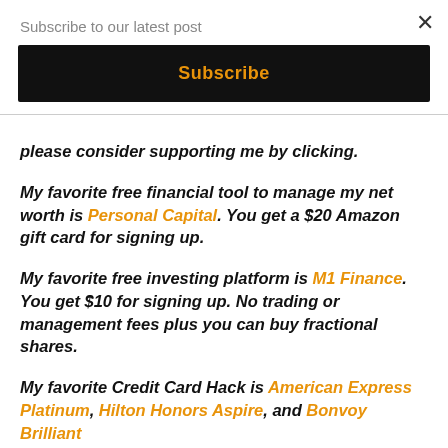Subscribe to our latest post
Subscribe
please consider supporting me by clicking.
My favorite free financial tool to manage my net worth is Personal Capital. You get a $20 Amazon gift card for signing up.
My favorite free investing platform is M1 Finance. You get $10 for signing up. No trading or management fees plus you can buy fractional shares.
My favorite Credit Card Hack is American Express Platinum, Hilton Honors Aspire, and Bonvoy Brilliant